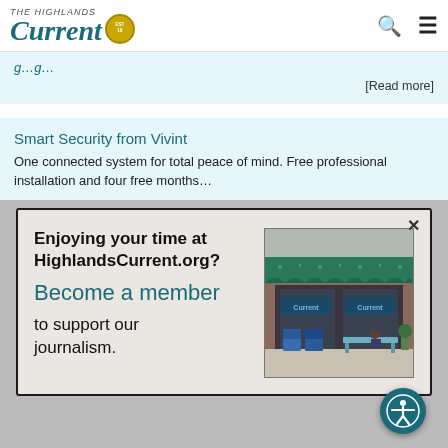The Highlands Current
[Read more]
Smart Security from Vivint
One connected system for total peace of mind. Free professional installation and four free months…
[Read more]
Enjoying your time at HighlandsCurrent.org? Become a member to support our journalism.
[Figure (photo): Exterior photo of The Highlands Current newspaper office storefront with teal awning, newspaper boxes in front, and a person sitting on a bench]